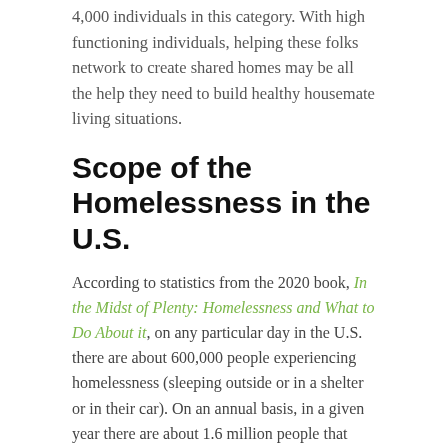4,000 individuals in this category. With high functioning individuals, helping these folks network to create shared homes may be all the help they need to build healthy housemate living situations.
Scope of the Homelessness in the U.S.
According to statistics from the 2020 book, In the Midst of Plenty: Homelessness and What to Do About it, on any particular day in the U.S. there are about 600,000 people experiencing homelessness (sleeping outside or in a shelter or in their car). On an annual basis, in a given year there are about 1.6 million people that experience homelessness (for any length of time). And over a lifetime, 7% of people in the U.S. will experience literal homelessness sometime in their life (and that goes up to 14% if you include couch surfing/indoor homelessness.)